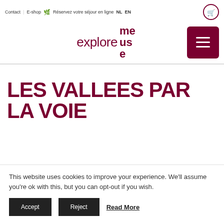Contact  E-shop  🛒  Réservez votre séjour en ligne  NL  EN
[Figure (logo): explore meuse logo in dark red/maroon color with shopping cart icon and hamburger menu button]
LES VALLEES PAR LA VOIE
This website uses cookies to improve your experience. We'll assume you're ok with this, but you can opt-out if you wish.
Accept  Reject  Read More